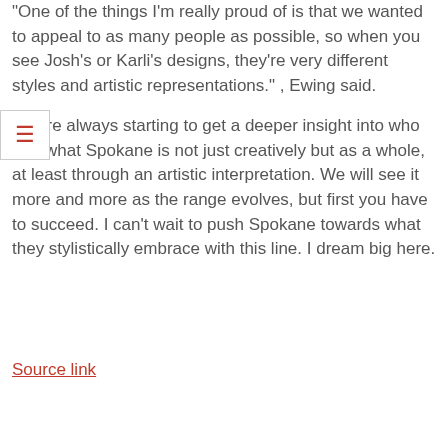"One of the things I'm really proud of is that we wanted to appeal to as many people as possible, so when you see Josh's or Karli's designs, they're very different styles and artistic representations." , Ewing said.
"We're always starting to get a deeper insight into who and what Spokane is not just creatively but as a whole, at least through an artistic interpretation. We will see it more and more as the range evolves, but first you have to succeed. I can't wait to push Spokane towards what they stylistically embrace with this line. I dream big here.
Source link